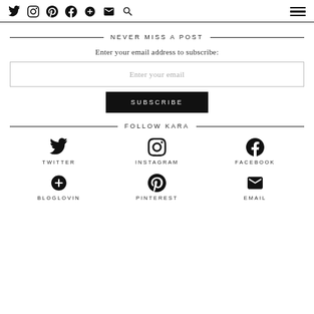Social media icons header bar with Twitter, Instagram, Pinterest, Facebook, Plus, Email, Search icons and hamburger menu
NEVER MISS A POST
Enter your email address to subscribe:
Enter your email
SUBSCRIBE
FOLLOW KARA
TWITTER
INSTAGRAM
FACEBOOK
BLOGLOVIN
PINTEREST
EMAIL